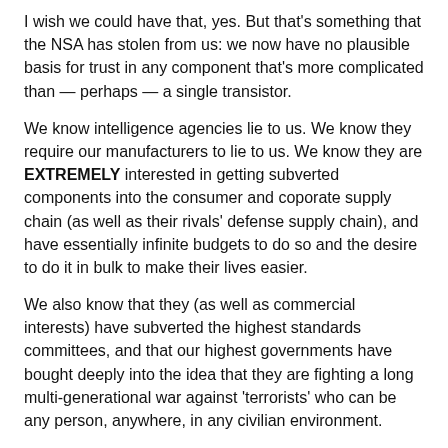I wish we could have that, yes. But that's something that the NSA has stolen from us: we now have no plausible basis for trust in any component that's more complicated than — perhaps — a single transistor.
We know intelligence agencies lie to us. We know they require our manufacturers to lie to us. We know they are EXTREMELY interested in getting subverted components into the consumer and coporate supply chain (as well as their rivals' defense supply chain), and have essentially infinite budgets to do so and the desire to do it in bulk to make their lives easier.
We also know that they (as well as commercial interests) have subverted the highest standards committees, and that our highest governments have bought deeply into the idea that they are fighting a long multi-generational war against 'terrorists' who can be any person, anywhere, in any civilian environment.
Given this – how DO we certify the behaviour of ANY component which could become part of a shooting cyberwar? Which means everything?